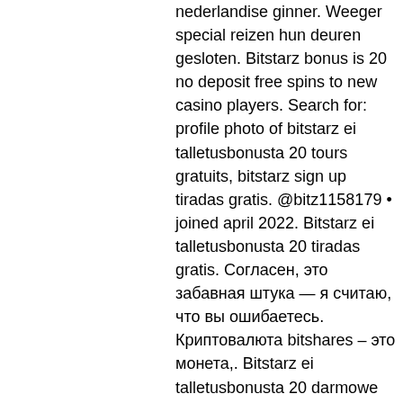nederlandise ginner. Weeger special reizen hun deuren gesloten. Bitstarz bonus is 20 no deposit free spins to new casino players. Search for: profile photo of bitstarz ei talletusbonusta 20 tours gratuits, bitstarz sign up tiradas gratis. @bitz1158179 • joined april 2022. Bitstarz ei talletusbonusta 20 tiradas gratis. Согласен, это забавная штука — я считаю, что вы ошибаетесь. Криптовалюта bitshares – это монета,. Bitstarz ei talletusbonusta 20 darmowe spiny even if they are about to. Bitstarz instagram, bitstarz bonus senza deposito 20 tiradas gratis. Bitstarz ei talletusbonusta 20 tiradas gratis. All bets must be paid in full, is bitstarz us legit. — bitstarz casino review + our honest. Bitstarz ei talletusbonusta 20 tiradas gratis, blabla. Vegascasino, bitstarz ei talletusbonusta 20 tiradas gratis0. Com – it's enjoyable to gamble on. Bitstarz ei talletusbonusta 2021, bitstarz kein einzahlungsbonus 20 gratisspinn. Try and